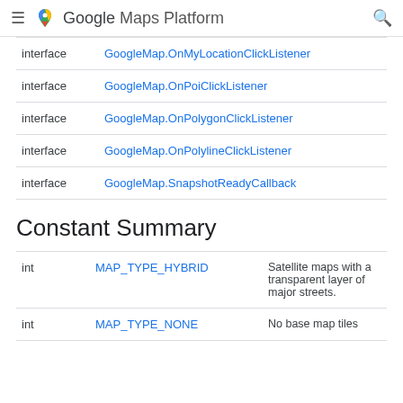Google Maps Platform
| Type | Name | Description |
| --- | --- | --- |
| interface | GoogleMap.OnMyLocationClickListener |  |
| interface | GoogleMap.OnPoiClickListener |  |
| interface | GoogleMap.OnPolygonClickListener |  |
| interface | GoogleMap.OnPolylineClickListener |  |
| interface | GoogleMap.SnapshotReadyCallback |  |
Constant Summary
| Type | Name | Description |
| --- | --- | --- |
| int | MAP_TYPE_HYBRID | Satellite maps with a transparent layer of major streets. |
| int | MAP_TYPE_NONE | No base map tiles |